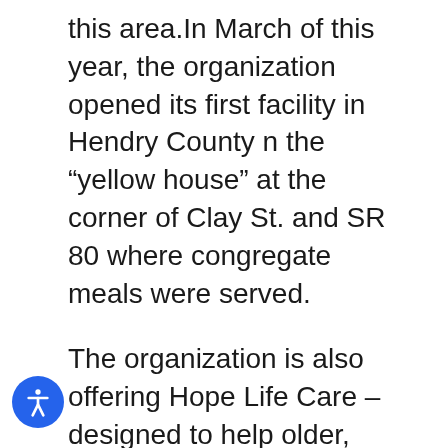this area.In March of this year, the organization opened its first facility in Hendry County n the “yellow house” at the corner of Clay St. and SR 80 where congregate meals were served.
The organization is also offering Hope Life Care – designed to help older, more frail people stay at home as long as possible. At this time Hope Connections has 254 clients in Hendry-Glades. Hope Life Care serves 250 (total in all counties); five in Hendry County at this time.
Outside groups, including the Center for Independent Living and Goodwill also have